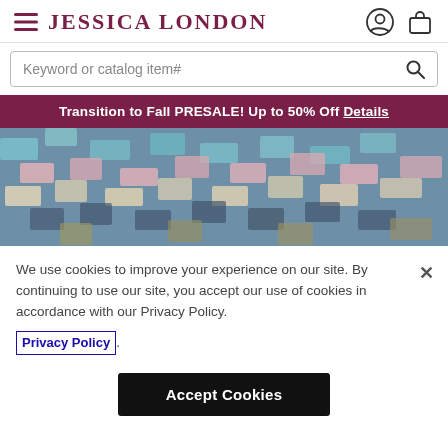JESSICA LONDON — navigation header with hamburger menu, brand name, user icon, and shopping bag icon
Keyword or catalog item#
Transition to Fall PRESALE! Up to 50% Off Details
[Figure (photo): Close-up photo of colorful patterned fabric with geometric shapes in teal, pink, cream, and navy colors]
We use cookies to improve your experience on our site. By continuing to use our site, you accept our use of cookies in accordance with our Privacy Policy.
Privacy Policy
Accept Cookies